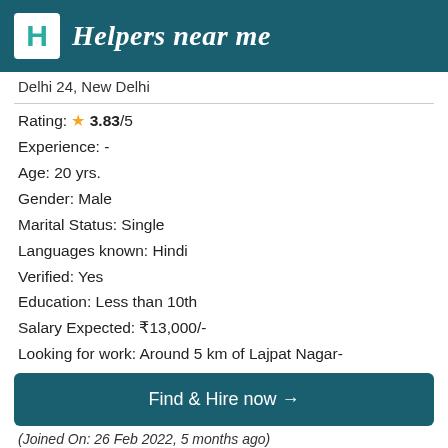Helpers near me
Delhi 24, New Delhi
Rating: ★ 3.83/5
Experience: -
Age: 20 yrs.
Gender: Male
Marital Status: Single
Languages known: Hindi
Verified: Yes
Education: Less than 10th
Salary Expected: ₹13,000/-
Looking for work: Around 5 km of Lajpat Nagar-
Find & Hire now →
(Joined On: 26 Feb 2022, 5 months ago)